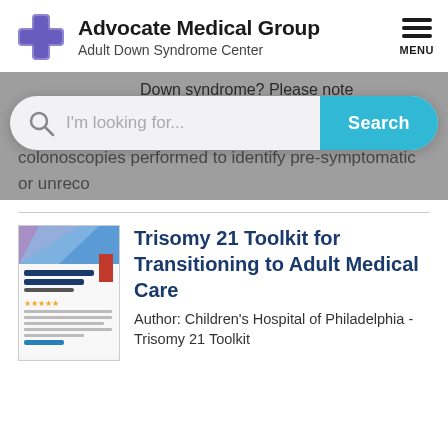Advocate Medical Group — Adult Down Syndrome Center
[Figure (logo): Advocate Medical Group logo with blue cross icon and text 'Advocate Medical Group / Adult Down Syndrome Center']
Down syndrome? Please note
I'm looking for...
Search
colonoscopies performed to identify pre-symptomatic or unreco
[Figure (screenshot): Thumbnail of Trisomy 21 Toolkit document cover]
Trisomy 21 Toolkit for Transitioning to Adult Medical Care
Author: Children's Hospital of Philadelphia - Trisomy 21 Toolkit